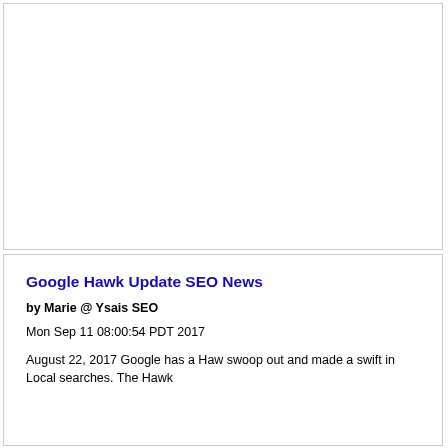[Figure (other): Empty white box with border, likely an advertisement or image placeholder]
Google Hawk Update SEO News
by Marie @ Ysais SEO
Mon Sep 11 08:00:54 PDT 2017
August 22, 2017 Google has a Haw swoop out and made a swift in Local searches. The Hawk